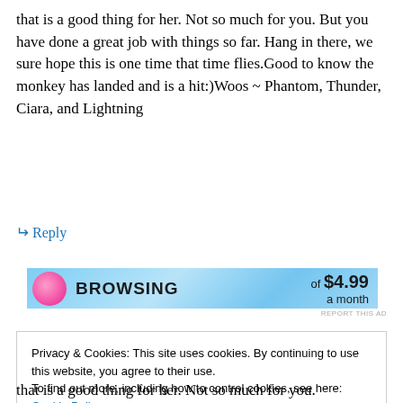that is a good thing for her. Not so much for you. But you have done a great job with things so far. Hang in there, we sure hope this is one time that time flies.Good to know the monkey has landed and is a hit:)Woos ~ Phantom, Thunder, Ciara, and Lightning
↵ Reply
[Figure (infographic): Advertisement banner with blue gradient background, pink circle graphic, bold text 'BROWSING', and price 'of $4.99 a month']
Privacy & Cookies: This site uses cookies. By continuing to use this website, you agree to their use.
To find out more, including how to control cookies, see here: Cookie Policy
that is a good thing for her. Not so much for you.